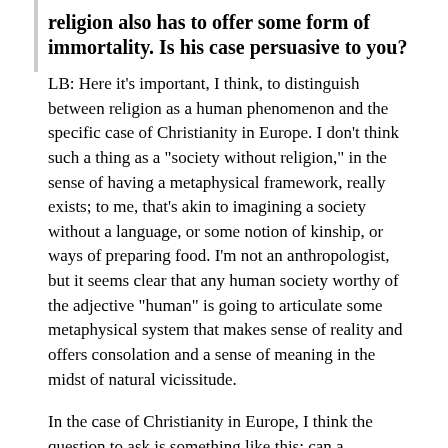religion also has to offer some form of immortality. Is his case persuasive to you?
LB: Here it's important, I think, to distinguish between religion as a human phenomenon and the specific case of Christianity in Europe. I don't think such a thing as a "society without religion," in the sense of having a metaphysical framework, really exists; to me, that's akin to imagining a society without a language, or some notion of kinship, or ways of preparing food. I'm not an anthropologist, but it seems clear that any human society worthy of the adjective "human" is going to articulate some metaphysical system that makes sense of reality and offers consolation and a sense of meaning in the midst of natural vicissitude.
In the case of Christianity in Europe, I think the question to ask is something like this: can a